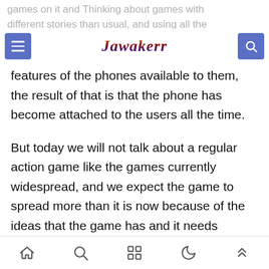games on it and Thinking about games with different stories than usual, and using all the
[Figure (logo): Jawakerr website logo with menu button and search button in a navigation bar]
features of the phones available to them, the result of that is that the phone has become attached to the users all the time.
But today we will not talk about a regular action game like the games currently widespread, and we expect the game to spread more than it is now because of the ideas that the game has and it needs players to think about offense and defense. It is a first-class
Navigation bar with home, search, grid, moon, and up-arrow icons